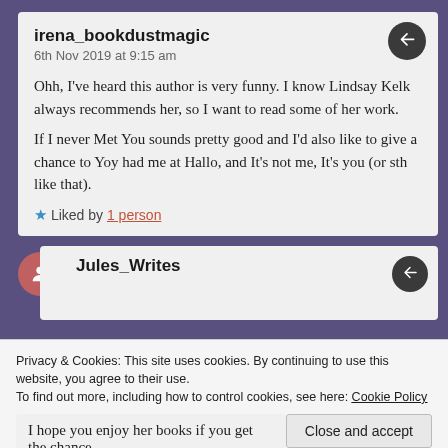irena_bookdustmagic
6th Nov 2019 at 9:15 am
Ohh, I've heard this author is very funny. I know Lindsay Kelk always recommends her, so I want to read some of her work.
If I never Met You sounds pretty good and I'd also like to give a chance to Yoy had me at Hallo, and It's not me, It's you (or sth like that).
Liked by 1 person
Jules_Writes
Privacy & Cookies: This site uses cookies. By continuing to use this website, you agree to their use.
To find out more, including how to control cookies, see here: Cookie Policy
Close and accept
I hope you enjoy her books if you get the chance